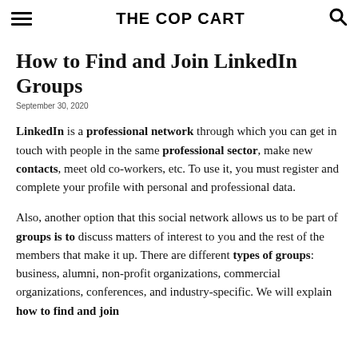THE COP CART
How to Find and Join LinkedIn Groups
September 30, 2020
LinkedIn is a professional network through which you can get in touch with people in the same professional sector, make new contacts, meet old co-workers, etc. To use it, you must register and complete your profile with personal and professional data. Also, another option that this social network allows us to be part of groups is to discuss matters of interest to you and the rest of the members that make it up. There are different types of groups: business, alumni, non-profit organizations, commercial organizations, conferences, and industry-specific. We will explain how to find and join